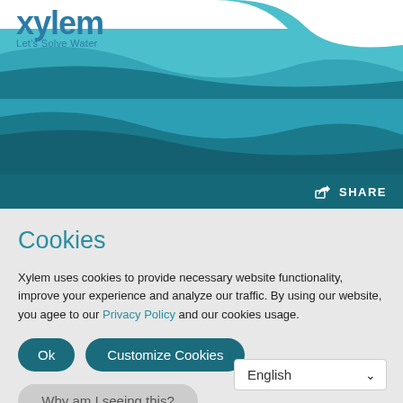Xylem — Let's Solve Water
Cookies
Xylem uses cookies to provide necessary website functionality, improve your experience and analyze our traffic. By using our website, you agee to our Privacy Policy and our cookies usage.
Ok
Customize Cookies
Why am I seeing this?
English